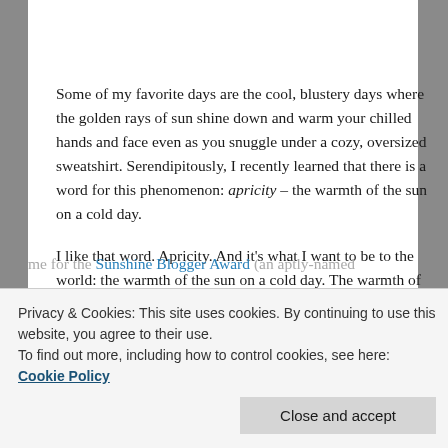[Figure (photo): Close-up of golden orange flower petals with dark veins/lines, warm yellow-orange background suggesting sunlight]
Some of my favorite days are the cool, blustery days where the golden rays of sun shine down and warm your chilled hands and face even as you snuggle under a cozy, oversized sweatshirt. Serendipitously, I recently learned that there is a word for this phenomenon: apricity – the warmth of the sun on a cold day.
I like that word. Apricity. And it's what I want to be to the world: the warmth of the sun on a cold day. The warmth of the Son on a proverbially cold day. That's what Jesus came to be – light in the darkness; warmth to the cold.
me for the Sunshine Blogger Award (an aptly-named
Privacy & Cookies: This site uses cookies. By continuing to use this website, you agree to their use.
To find out more, including how to control cookies, see here: Cookie Policy